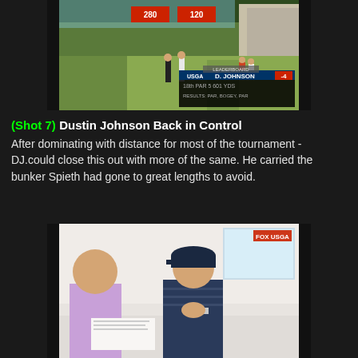[Figure (photo): TV broadcast screenshot of a golf course, showing players on a fairway with a concrete wall in the background. A USGA leaderboard overlay shows D. JOHNSON -4, 18th hole, Par 5, 601 yards.]
(Shot 7) Dustin Johnson Back in Control After dominating with distance for most of the tournament - DJ.could close this out with more of the same. He carried the bunker Spieth had gone to great lengths to avoid.
[Figure (photo): TV broadcast screenshot showing two people sitting at a table indoors, one wearing a purple shirt and one wearing a navy striped shirt and Under Armour cap, viewed from a FOX/USGA broadcast.]